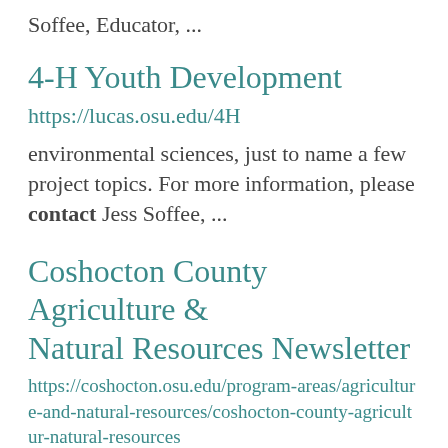Soffee, Educator, ...
4-H Youth Development
https://lucas.osu.edu/4H
environmental sciences, just to name a few project topics. For more information, please contact Jess Soffee, ...
Coshocton County Agriculture & Natural Resources Newsletter
https://coshocton.osu.edu/program-areas/agriculture-and-natural-resources/coshocton-county-agricultur-natural-resources
Click the link about and subscribe or contact David Marrison at 740-622-2265 or